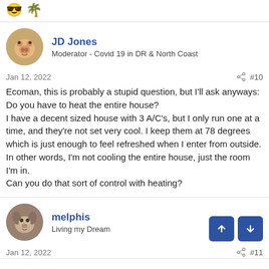😎 🌴
JD Jones
Moderator - Covid 19 in DR & North Coast
Jan 12, 2022  #10
Ecoman, this is probably a stupid question, but I'll ask anyways: Do you have to heat the entire house?
I have a decent sized house with 3 A/C's, but I only run one at a time, and they're not set very cool. I keep them at 78 degrees which is just enough to feel refreshed when I enter from outside.
In other words, I'm not cooling the entire house, just the room I'm in.
Can you do that sort of control with heating?
melphis
Living my Dream
Jan 12, 2022  #11